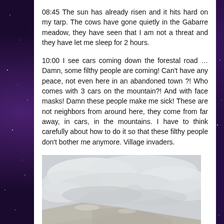08:45 The sun has already risen and it hits hard on my tarp. The cows have gone quietly in the Gabarre meadow, they have seen that I am not a threat and they have let me sleep for 2 hours.
10:00 I see cars coming down the forestal road … Damn, some filthy people are coming! Can't have any peace, not even here in an abandoned town ?! Who comes with 3 cars on the mountain?! And with face masks! Damn these people make me sick! These are not neighbors from around here, they come from far away, in cars, in the mountains. I have to think carefully about how to do it so that these filthy people don't bother me anymore. Village invaders.
[Figure (photo): Outdoor photo showing a hillside or mountain slope with a cloudy sky above; mostly grey-white clouds and a grey-toned landscape]